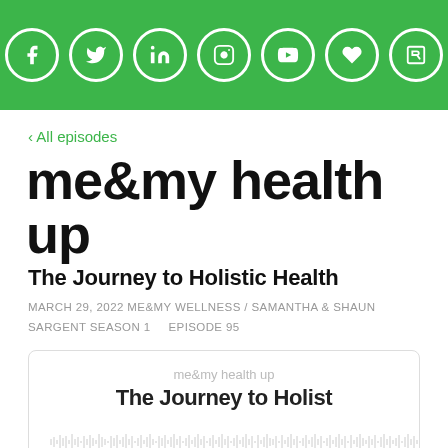[Figure (other): Green header bar with seven white circular social media icons: Facebook, Twitter, LinkedIn, Instagram, YouTube, heart/wellness, and a bookmark/R icon]
‹ All episodes
me&my health up
The Journey to Holistic Health
MARCH 29, 2022
ME&MY WELLNESS / SAMANTHA & SHAUN SARGENT
SEASON 1     EPISODE 95
[Figure (screenshot): Podcast player widget showing 'me&my health up' as podcast name and 'The Journey to Holist' as episode title with a waveform audio scrubber at the bottom]